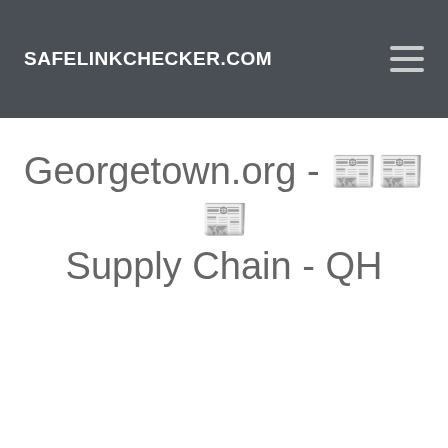SAFELINKCHECKER.COM
Georgetown.org - 뉴스 Supply Chain - QH